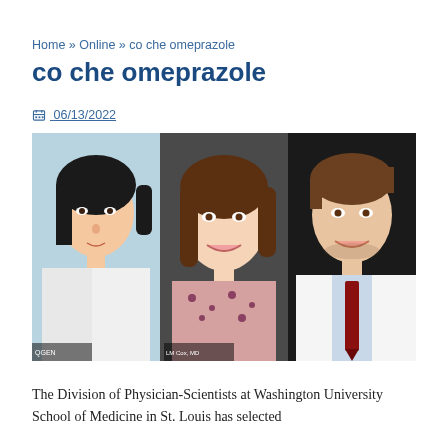Home » Online » co che omeprazole
co che omeprazole
06/13/2022
[Figure (photo): Three headshot photos side by side: a woman with dark hair in a white coat, a smiling woman with light skin and a patterned top, and a smiling man in a white coat with a red tie.]
The Division of Physician-Scientists at Washington University School of Medicine in St. Louis has selected